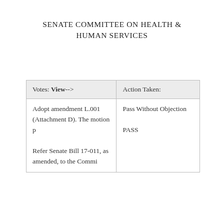SENATE COMMITTEE ON HEALTH & HUMAN SERVICES
| Votes: View--> | Action Taken: |
| --- | --- |
| Adopt amendment L.001 (Attachment D). The motion p

Refer Senate Bill 17-011, as amended, to the Commi | Pass Without Objection

PASS |